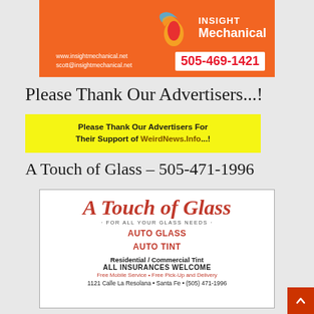[Figure (advertisement): Insight Mechanical advertisement with orange background, flame logo, website URLs (www.insightmechanical.net, scott@insightmechanical.net) and phone number 505-469-1421]
Please Thank Our Advertisers...!
Please Thank Our Advertisers For Their Support of WeirdNews.Info...!
A Touch of Glass – 505-471-1996
[Figure (advertisement): A Touch of Glass advertisement with logo in red italic script, tagline 'For All Your Glass Needs', services: Auto Glass, Auto Tint, Residential/Commercial Tint, All Insurances Welcome, Free Mobile Service, Free Pick-Up and Delivery, address: 1121 Calle La Resolana, Santa Fe, (505) 471-1996]